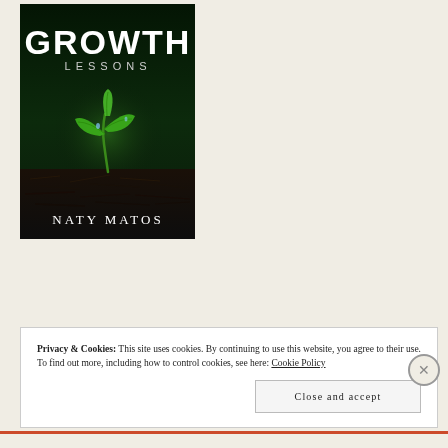[Figure (illustration): Book cover for 'Growth Lessons' by Naty Matos. Dark background with a glowing green seedling sprouting from dark soil. Title 'GROWTH' in large white bold condensed letters at top, 'LESSONS' below in smaller spaced caps, author name 'NATY MATOS' at bottom in white serif font.]
Privacy & Cookies: This site uses cookies. By continuing to use this website, you agree to their use.
To find out more, including how to control cookies, see here: Cookie Policy
Close and accept